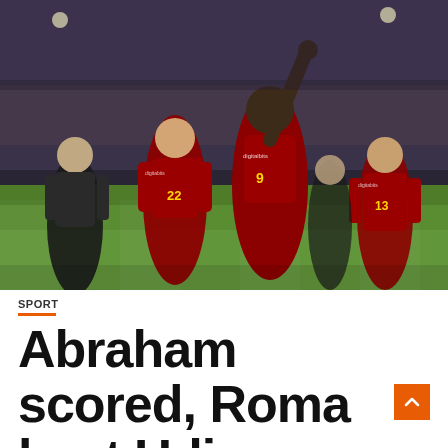[Figure (photo): Soccer players in dark red AS Roma jerseys celebrating a goal. The central player wearing number 9 points upward with one finger. Player number 22 runs behind him. A third Roma player is visible on the right. Players in black and white Udinese shirts are in the background. Stadium crowd visible in the background.]
SPORT
Abraham scored, Roma beat Udinese